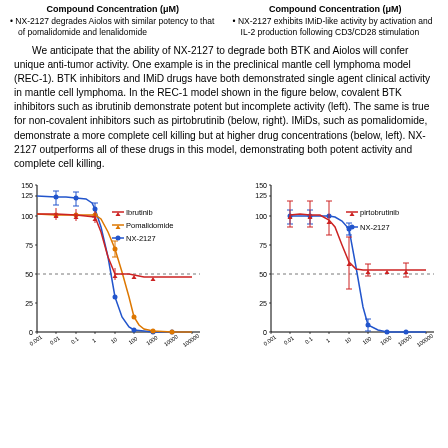Compound Concentration (μM)
NX-2127 degrades Aiolos with similar potency to that of pomalidomide and lenalidomide
Compound Concentration (μM)
NX-2127 exhibits IMiD-like activity by activation and IL-2 production following CD3/CD28 stimulation
We anticipate that the ability of NX-2127 to degrade both BTK and Aiolos will confer unique anti-tumor activity. One example is in the preclinical mantle cell lymphoma model (REC-1). BTK inhibitors and IMiD drugs have both demonstrated single agent clinical activity in mantle cell lymphoma. In the REC-1 model shown in the figure below, covalent BTK inhibitors such as ibrutinib demonstrate potent but incomplete activity (left). The same is true for non-covalent inhibitors such as pirtobrutinib (below, right). IMiDs, such as pomalidomide, demonstrate a more complete cell killing but at higher drug concentrations (below, left). NX-2127 outperforms all of these drugs in this model, demonstrating both potent activity and complete cell killing.
[Figure (line-chart): Dose-response curves for Ibrutinib (red), Pomalidomide (orange), and NX-2127 (blue) in REC-1 mantle cell lymphoma model. X-axis: compound concentration (μM) log scale 0.001 to 100000. Y-axis: %Viable 0-150. NX-2127 achieves complete cell killing; Pomalidomide achieves near-complete killing at higher concentrations; Ibrutinib plateaus around 50% viable.]
[Figure (line-chart): Dose-response curves for pirtobrutinib (red) and NX-2127 (blue) in REC-1 model. X-axis: compound concentration (μM) log scale 0.001 to 100000. Y-axis: %Viable 0-150. NX-2127 achieves complete cell killing; pirtobrutinib plateaus around 60-65% viable.]